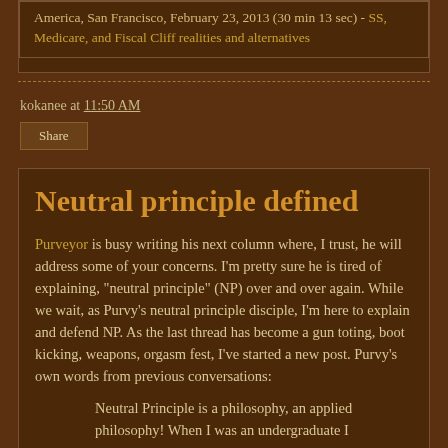America, San Francisco, February 23, 2013 (30 min 13 sec) - SS, Medicare, and Fiscal Cliff realities and alternatives
kokanee at 11:50 AM
Share
Neutral principle defined
Purveyor is busy writing his next column where, I trust, he will address some of your concerns. I'm pretty sure he is tired of explaining, "neutral principle" (NP) over and over again. While we wait, as Purvy's neutral principle disciple, I'm here to explain and defend NP. As the last thread has become a gun toting, boot kicking, weapons, orgasm fest, I've started a new post. Purvy's own words from previous conversations:
Neutral Principle is a philosophy, an applied philosophy! When I was an undergraduate I